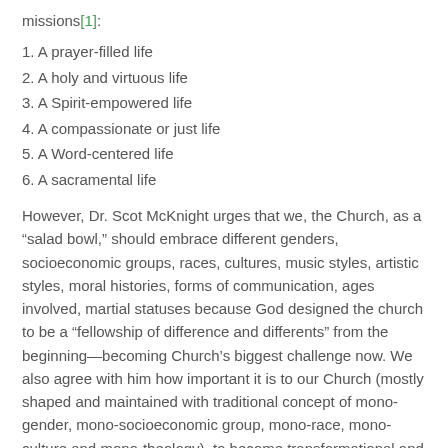missions[1]:
1. A prayer-filled life
2. A holy and virtuous life
3. A Spirit-empowered life
4. A compassionate or just life
5. A Word-centered life
6. A sacramental life
However, Dr. Scot McKnight urges that we, the Church, as a “salad bowl,” should embrace different genders, socioeconomic groups, races, cultures, music styles, artistic styles, moral histories, forms of communication, ages involved, martial statuses because God designed the church to be a “fellowship of difference and differents” from the beginning—becoming Church’s biggest challenge now. We also agree with him how important it is to our Church (mostly shaped and maintained with traditional concept of mono-gender, mono-socioeconomic group, mono-race, mono-culture and mono-theology), to become transformational and missional community comprising following 7 merits of Christian life[2]:
1. Christian life as a fellowship
2. Christian life as a social revolution
3. Christian life as a life together
4. Christian life as transcending difference